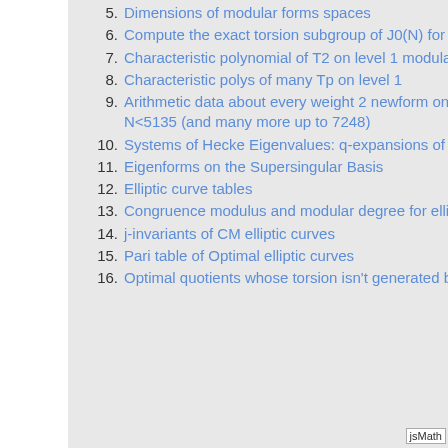5. Dimensions of modular forms spaces
6. Compute the exact torsion subgroup of J0(N) for as many N as possible
7. Characteristic polynomial of T2 on level 1 modular forms
8. Characteristic polys of many Tp on level 1
9. Arithmetic data about every weight 2 newform on Gamma0(N) for all N<5135 (and many more up to 7248)
10. Systems of Hecke Eigenvalues: q-expansions of Newforms
11. Eigenforms on the Supersingular Basis
12. Elliptic curve tables
13. Congruence modulus and modular degree for elliptic curves
14. j-invariants of CM elliptic curves
15. Pari table of Optimal elliptic curves
16. Optimal quotients whose torsion isn't generated by